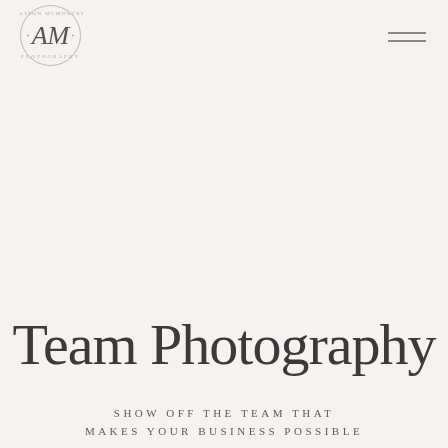[Figure (logo): Alison McMurtry Photography circular logo with stylized AM monogram in the center]
Team Photography
SHOW OFF THE TEAM THAT MAKES YOUR BUSINESS POSSIBLE